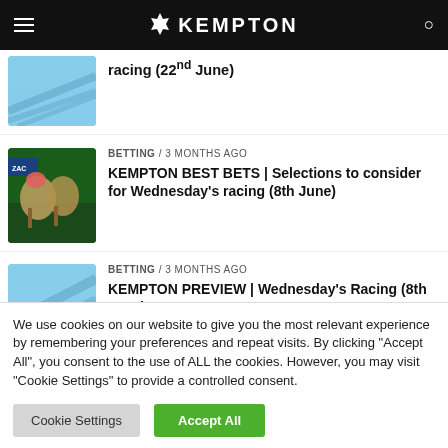KEMPTON
[Figure (screenshot): Partial article thumbnail - sky/aerial photograph]
racing (22nd June)
[Figure (photo): Horse racing thumbnail - horses racing on green track]
BETTING / 3 months ago
KEMPTON BEST BETS | Selections to consider for Wednesday's racing (8th June)
[Figure (photo): Sky/aerial photograph thumbnail]
BETTING / 3 months ago
KEMPTON PREVIEW | Wednesday's Racing (8th June)
We use cookies on our website to give you the most relevant experience by remembering your preferences and repeat visits. By clicking "Accept All", you consent to the use of ALL the cookies. However, you may visit "Cookie Settings" to provide a controlled consent.